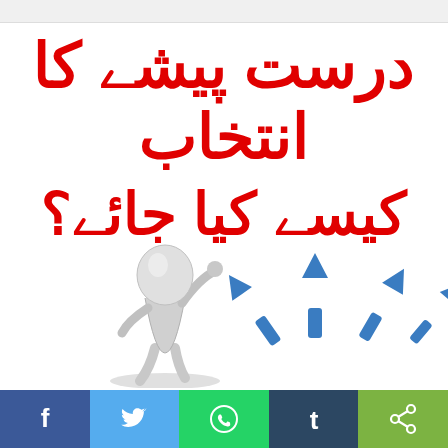[Figure (illustration): Urdu text in red reading 'Durust Peshay Ka Intikhab Kaisay Kiya Jaye?' (How to choose the right profession?) over a white background with a 3D stick figure scratching its head and blue directional arrows below]
[Figure (infographic): Social media share bar at the bottom with Facebook, Twitter, WhatsApp, Tumblr, and generic share buttons]